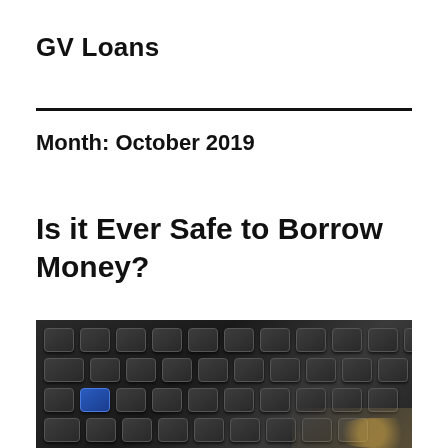GV Loans
Month: October 2019
Is it Ever Safe to Borrow Money?
[Figure (photo): Close-up photograph of a dark calculator keyboard with black keys and one blue key visible, alongside what appears to be coins or currency at the edge.]